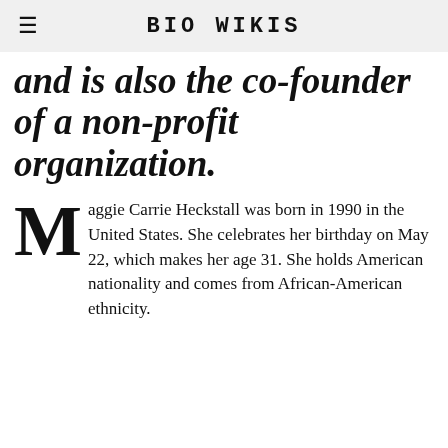BIO WIKIS
and is also the co-founder of a non-profit organization.
Maggie Carrie Heckstall was born in 1990 in the United States. She celebrates her birthday on May 22, which makes her age 31. She holds American nationality and comes from African-American ethnicity.